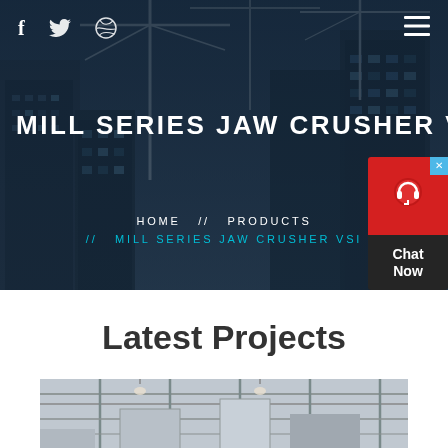[Figure (photo): Hero banner showing construction cranes and city buildings at dusk, with dark blue overlay. Social media icons (f, bird, dribbble) at top left, hamburger menu at top right.]
MILL SERIES JAW CRUSHER VSI
HOME // PRODUCTS // MILL SERIES JAW CRUSHER VSI
[Figure (other): Live chat widget with red icon box showing headset icon and dark label box reading Chat Now with close X button]
Latest Projects
[Figure (photo): Partial view of construction/industrial interior scene with scaffolding and structural elements]